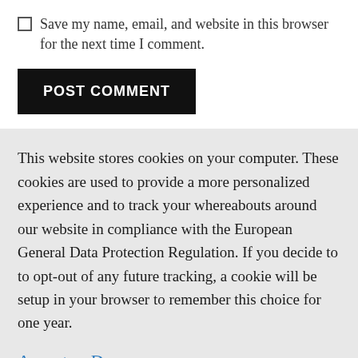Save my name, email, and website in this browser for the next time I comment.
POST COMMENT
This website stores cookies on your computer. These cookies are used to provide a more personalized experience and to track your whereabouts around our website in compliance with the European General Data Protection Regulation. If you decide to to opt-out of any future tracking, a cookie will be setup in your browser to remember this choice for one year.
Accept or Deny